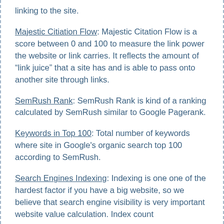linking to the site.
Majestic Citiation Flow: Majestic Citation Flow is a score between 0 and 100 to measure the link power the website or link carries. It reflects the amount of “link juice” that a site has and is able to pass onto another site through links.
SemRush Rank: SemRush Rank is kind of a ranking calculated by SemRush similar to Google Pagerank.
Keywords in Top 100: Total number of keywords where site in Google's organic search top 100 according to SemRush.
Search Engines Indexing: Indexing is one one of the hardest factor if you have a big website, so we believe that search engine visibility is very important website value calculation. Index count